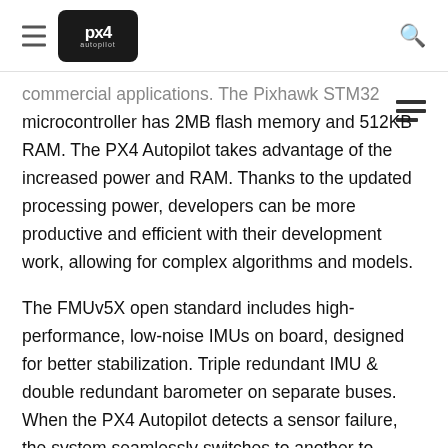PX4 Autopilot
commercial applications. The Pixhawk STM32 microcontroller has 2MB flash memory and 512KB RAM. The PX4 Autopilot takes advantage of the increased power and RAM. Thanks to the updated processing power, developers can be more productive and efficient with their development work, allowing for complex algorithms and models.
The FMUv5X open standard includes high-performance, low-noise IMUs on board, designed for better stabilization. Triple redundant IMU & double redundant barometer on separate buses. When the PX4 Autopilot detects a sensor failure, the system seamlessly switches to another to maintain flight control reliability.